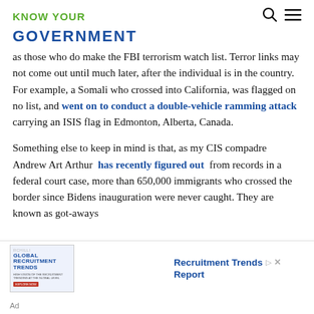KNOW YOUR
GOVERNMENT
as those who do make the FBI terrorism watch list. Terror links may not come out until much later, after the individual is in the country. For example, a Somali who crossed into California, was flagged on no list, and went on to conduct a double-vehicle ramming attack carrying an ISIS flag in Edmonton, Alberta, Canada.
Something else to keep in mind is that, as my CIS compadre Andrew Art Arthur has recently figured out from records in a federal court case, more than 650,000 immigrants who crossed the border since Bidens inauguration were never caught. They are known as got-aways
[Figure (other): Advertisement banner: RChilli Global Recruitment Trends Report with logo and illustration]
Ad